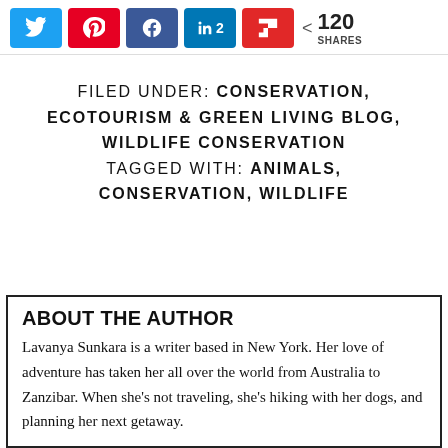[Figure (screenshot): Social sharing buttons bar: Twitter, Pinterest, Facebook, LinkedIn (2), Flipboard, and share count of 120 SHARES]
FILED UNDER: CONSERVATION, ECOTOURISM & GREEN LIVING BLOG, WILDLIFE CONSERVATION TAGGED WITH: ANIMALS, CONSERVATION, WILDLIFE
ABOUT THE AUTHOR
Lavanya Sunkara is a writer based in New York. Her love of adventure has taken her all over the world from Australia to Zanzibar. When she’s not traveling, she’s hiking with her dogs, and planning her next getaway.